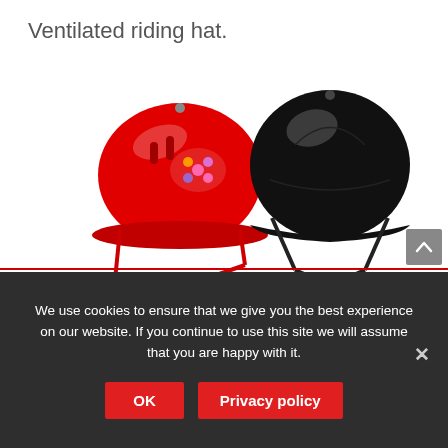Ventilated riding hat.
[Figure (photo): Two riding helmets (one red with decorative floral design and chin strap, one glossy black with chin strap) shown as main product image, with six smaller thumbnail helmets below in pink, light blue, purple, dark blue, blue, and pink colors.]
We use cookies to ensure that we give you the best experience on our website. If you continue to use this site we will assume that you are happy with it.